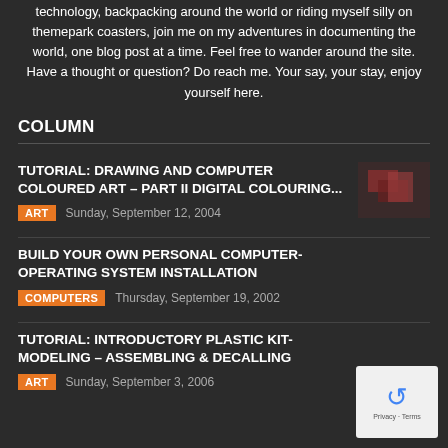technology, backpacking around the world or riding myself silly on themepark coasters, join me on my adventures in documenting the world, one blog post at a time. Feel free to wander around the site. Have a thought or question? Do reach me. Your say, your stay, enjoy yourself here.
COLUMN
TUTORIAL: DRAWING AND COMPUTER COLOURED ART – PART II DIGITAL COLOURING...
ART  Sunday, September 12, 2004
BUILD YOUR OWN PERSONAL COMPUTER- OPERATING SYSTEM INSTALLATION
COMPUTERS  Thursday, September 19, 2002
TUTORIAL: INTRODUCTORY PLASTIC KIT- MODELING – ASSEMBLING & DECALLING
ART  Sunday, September 3, 2006